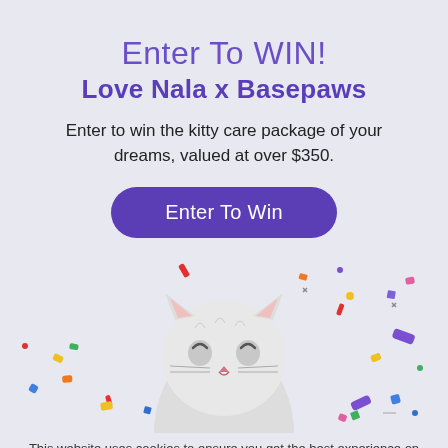Enter To WIN!
Love Nala x Basepaws
Enter to win the kitty care package of your dreams, valued at over $350.
[Figure (other): A purple rounded rectangle button with white text reading 'Enter To Win']
[Figure (photo): A white cat looking upward surrounded by colorful confetti pieces on a light grey-purple background]
This website uses cookies to ensure you get the best experience on our website. Privacy Policy
Got it!